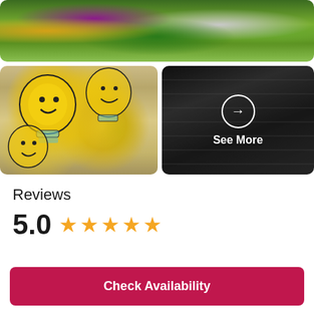[Figure (photo): Colorful graffiti mural on a wall with vibrant green, yellow, purple colors - wide panoramic photo at top]
[Figure (photo): Graffiti mural of lightbulb characters with smiley faces on a brick wall]
[Figure (photo): Dark black and white graffiti wall with 'See More' overlay and arrow circle button]
Reviews
5.0 ★★★★★
Check Availability